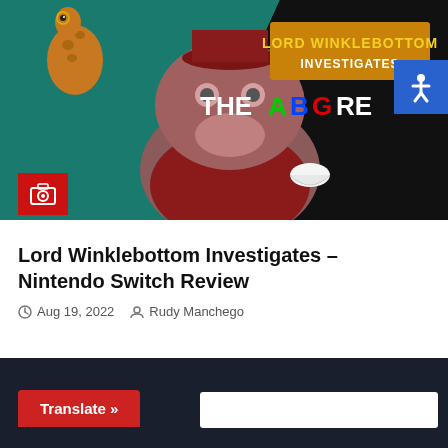[Figure (screenshot): Hero image for Lord Winklebottom Investigates Nintendo Switch Review article. Shows a cartoon hippo in a red suit holding a teacup, a giraffe, on a split teal/pink/black background. Top right has 'LORD WINKLEBOTTOM INVESTIGATES' logo text in yellow/brown, and 'THE ABG RE' text partially visible in white with colorful letters.]
Lord Winklebottom Investigates – Nintendo Switch Review
Aug 19, 2022  Rudy Manchego
[Figure (screenshot): Dark navy background section at bottom with a red 'Translate »' button on left and a white input field on right.]